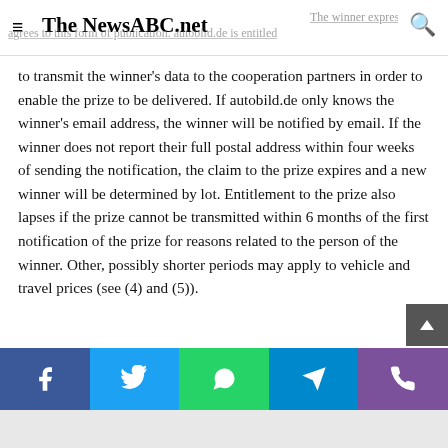≡  The NewsABC.net  🔍
agrees to this form of publication. autobild.de is entitled to transmit the winner's data to the cooperation partners in order to enable the prize to be delivered. If autobild.de only knows the winner's email address, the winner will be notified by email. If the winner does not report their full postal address within four weeks of sending the notification, the claim to the prize expires and a new winner will be determined by lot. Entitlement to the prize also lapses if the prize cannot be transmitted within 6 months of the first notification of the prize for reasons related to the person of the winner. Other, possibly shorter periods may apply to vehicle and travel prices (see (4) and (5)).